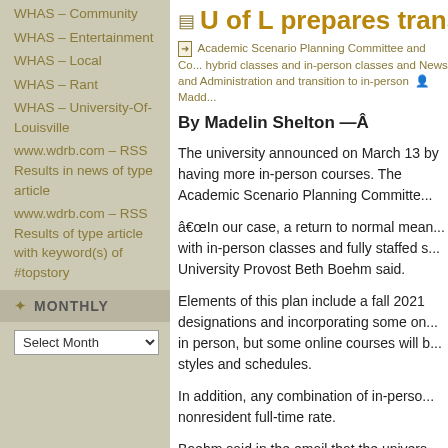WHAS – Community
WHAS – Entertainment
WHAS – Local
WHAS – Rant
WHAS – University-Of-Louisville
www.wdrb.com – RSS Results in news of type article
www.wdrb.com – RSS Results of type article with keyword(s) of #topstory
MONTHLY
U of L prepares transition
Academic Scenario Planning Committee and Co... hybrid classes and in-person classes and News and... Administration and transition to in-person  Madd...
By Madelin Shelton —Â
The university announced on March 13 by having more in-person courses. The Academic Scenario Planning Committe...
"In our case, a return to normal mean... with in-person classes and fully staffed s... University Provost Beth Boehm said.
Elements of this plan include a fall 2021 designations and incorporating some on... in person, but some online courses will b... styles and schedules.
In addition, any combination of in-perso... nonresident full-time rate.
Boehm said in the email that the univers... onling or hybrid if the pandemic contin...